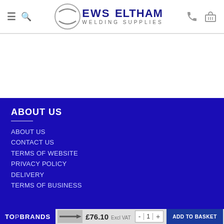EWS ELTHAM WELDING SUPPLIES
ABOUT US
ABOUT US
CONTACT US
TERMS OF WEBSITE
PRIVACY POLICY
DELIVERY
TERMS OF BUSINESS
TOP BRANDS  £76.10 Excl VAT  - 1 +  ADD TO BASKET